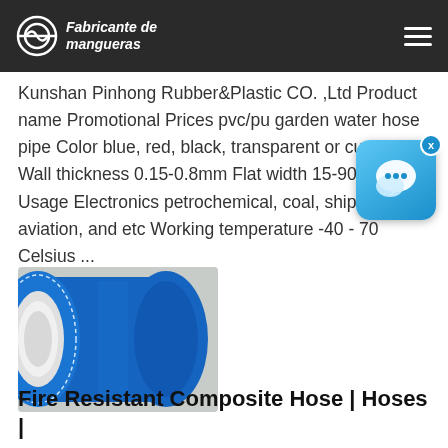Fabricante de mangueras
Kunshan Pinhong Rubber&Plastic CO. ,Ltd Product name Promotional Prices pvc/pu garden water hose pipe Color blue, red, black, transparent or custom Wall thickness 0.15-0.8mm Flat width 15-900mm Usage Electronics petrochemical, coal, shipbuilding, aviation, and etc Working temperature -40 - 70 Celsius ...
[Figure (photo): Blue layflat hose pipe roll showing hollow cylindrical end, blue exterior with white interior]
Fire Resistant Composite Hose | Hoses |